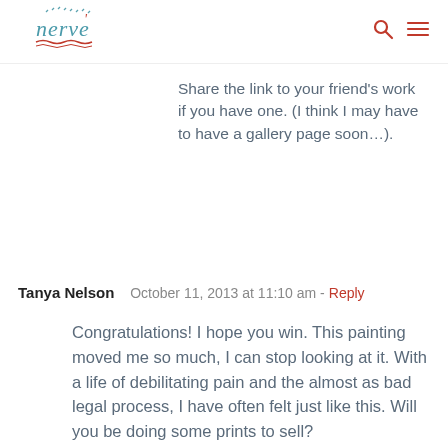nerve [logo]
Share the link to your friend's work if you have one. (I think I may have to have a gallery page soon…).
Tanya Nelson   October 11, 2013 at 11:10 am - Reply
Congratulations! I hope you win. This painting moved me so much, I can stop looking at it. With a life of debilitating pain and the almost as bad legal process, I have often felt just like this. Will you be doing some prints to sell?